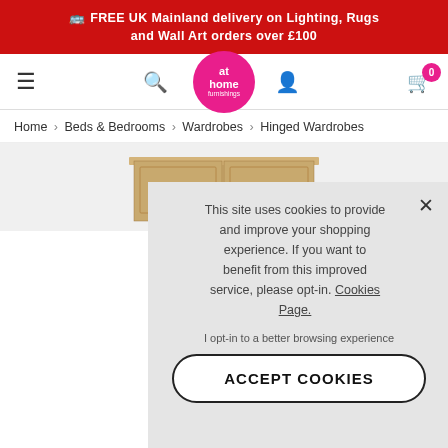FREE UK Mainland delivery on Lighting, Rugs and Wall Art orders over £100
[Figure (logo): At Home Furnishings logo - pink circle with white text]
Home › Beds & Bedrooms › Wardrobes › Hinged Wardrobes
[Figure (photo): Wooden wardrobe/cabinet furniture product image]
This site uses cookies to provide and improve your shopping experience. If you want to benefit from this improved service, please opt-in. Cookies Page.

I opt-in to a better browsing experience

ACCEPT COOKIES